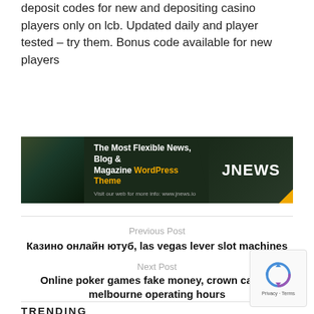deposit codes for new and depositing casino players only on lcb. Updated daily and player tested – try them. Bonus code available for new players
[Figure (infographic): JNews advertisement banner: dark green background with text 'The Most Flexible News, Blog & Magazine WordPress Theme' with 'WordPress Theme' in yellow, JNEWS logo in white, URL www.jnews.io]
Previous Post
Казино онлайн ютуб, las vegas lever slot machines
Next Post
Online poker games fake money, crown casino melbourne operating hours
TRENDING